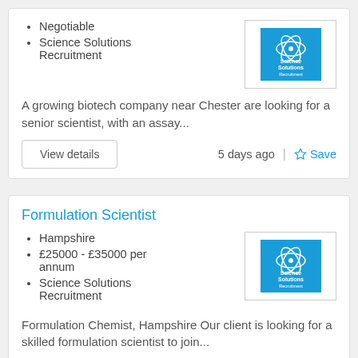Negotiable
Science Solutions Recruitment
[Figure (logo): Science Solutions Recruitment logo — blue square with white atomic orbit graphic and white text]
A growing biotech company near Chester are looking for a senior scientist, with an assay...
View details
5 days ago
Save
Formulation Scientist
Hampshire
£25000 - £35000 per annum
Science Solutions Recruitment
[Figure (logo): Science Solutions Recruitment logo — blue square with white atomic orbit graphic and white text]
Formulation Chemist, Hampshire Our client is looking for a skilled formulation scientist to join...